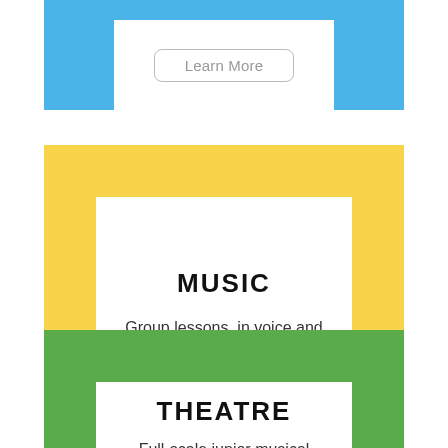[Figure (illustration): Blue decorative frame (partially visible at top) with a 'Learn More' button inside]
Learn More
[Figure (illustration): Yellow decorative square frame containing the MUSIC section]
MUSIC
Group lessons  in voice and piano that offer an exceptional learning experience!
Learn More
[Figure (illustration): Green decorative square frame containing the THEATRE section (partially visible at bottom)]
THEATRE
Full-scale junior musical productions